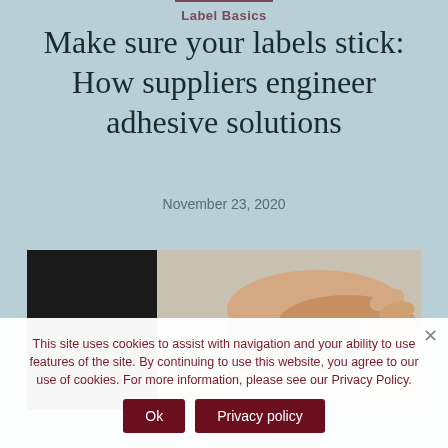Label Basics
Make sure your labels stick: How suppliers engineer adhesive solutions
November 23, 2020
[Figure (photo): A hand holding a labeled product package, examined closely]
This site uses cookies to assist with navigation and your ability to use features of the site. By continuing to use this website, you agree to our use of cookies. For more information, please see our Privacy Policy.